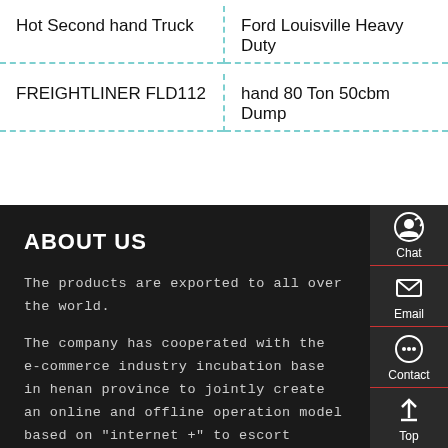Hot Second hand Truck
Ford Louisville Heavy Duty
FREIGHTLINER FLD112
hand 80 Ton 50cbm Dump
ABOUT US
The products are exported to all over the world.
The company has cooperated with the e-commerce industry incubation base in henan province to jointly create an online and offline operation model based on "internet +" to escort